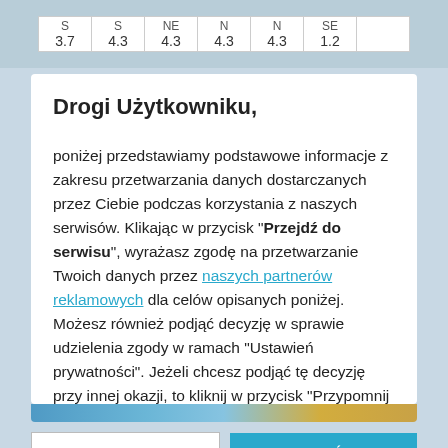| S | S | NE | N | N | SE |  |
| --- | --- | --- | --- | --- | --- | --- |
| 3.7 | 4.3 | 4.3 | 4.3 | 4.3 | 1.2 |  |
Drogi Użytkowniku,
poniżej przedstawiamy podstawowe informacje z zakresu przetwarzania danych dostarczanych przez Ciebie podczas korzystania z naszych serwisów. Klikając w przycisk "Przejdź do serwisu", wyrażasz zgodę na przetwarzanie Twoich danych przez naszych partnerów reklamowych dla celów opisanych poniżej. Możesz również podjąć decyzję w sprawie udzielenia zgody w ramach "Ustawień prywatności". Jeżeli chcesz podjąć tę decyzję przy innej okazji, to kliknij w przycisk "Przypomnij później". Bez dokonania zmian w ramach "Ustawień prywatności", Twoje dane
USTAWIENIA PRYWATNOŚCI
PRZEJDŹ DO SERWISU